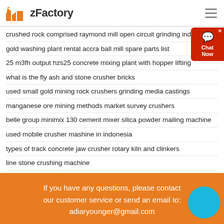zFactory
crushed rock comprised raymond mill open circuit grinding india
gold washing plant rental accra ball mill spare parts list
25 m3fh output hzs25 concrete mixing plant with hopper lifting
what is the fly ash and stone crusher bricks
used small gold mining rock crushers grinding media castings
manganese ore mining methods market survey crushers
belle group minimix 130 cement mixer silica powder mailing machine
used mobile crusher mashine in indonesia
types of track concrete jaw crusher rotary kiln and clinkers
line stone crushing machine
chrome mineral processing equipments for sale
crusher crusher industry
If you have any questions, please contact our customer service or send an email to: adiaryounger@gmail.com